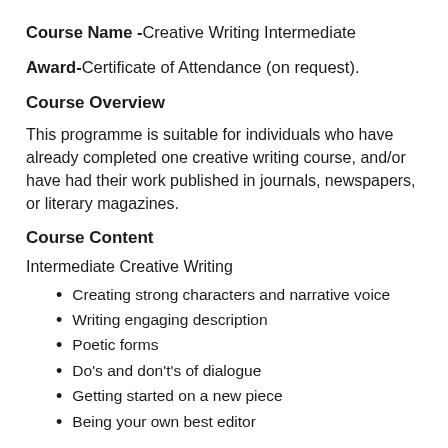Course Name - Creative Writing Intermediate
Award- Certificate of Attendance (on request).
Course Overview
This programme is suitable for individuals who have already completed one creative writing course, and/or have had their work published in journals, newspapers, or literary magazines.
Course Content
Intermediate Creative Writing
Creating strong characters and narrative voice
Writing engaging description
Poetic forms
Do's and don't's of dialogue
Getting started on a new piece
Being your own best editor